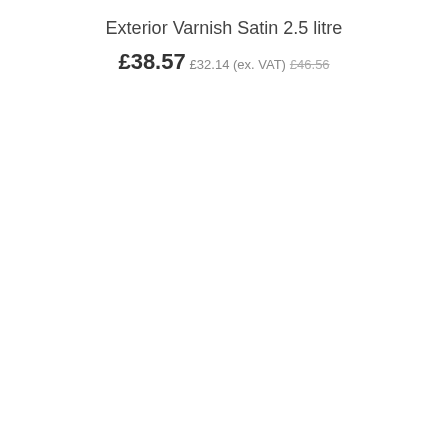Exterior Varnish Satin 2.5 litre
£38.57 £32.14 (ex. VAT) £46.56